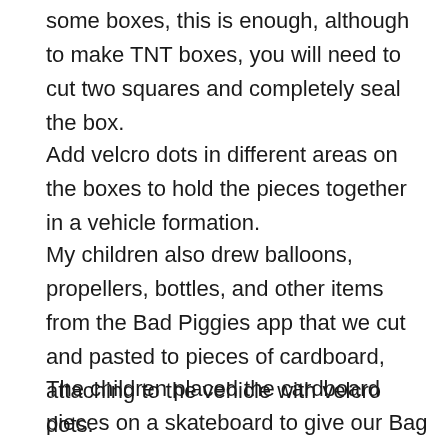some boxes, this is enough, although to make TNT boxes, you will need to cut two squares and completely seal the box.
Add velcro dots in different areas on the boxes to hold the pieces together in a vehicle formation.
My children also drew balloons, propellers, bottles, and other items from the Bad Piggies app that we cut and pasted to pieces of cardboard, attaching to the vehicle with velcro dots.
The children placed the cardboard pieces on a skateboard to give our Bag Piggies vehicle wheels, and with the velcro dots, they were able to